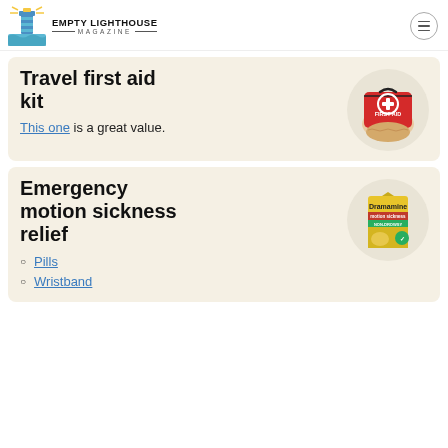EMPTY LIGHTHOUSE MAGAZINE
Travel first aid kit
This one is a great value.
[Figure (photo): Hand holding a red first aid kit bag with white cross symbol]
Emergency motion sickness relief
[Figure (photo): Dramamine motion sickness non-drowsy product box]
Pills
Wristband